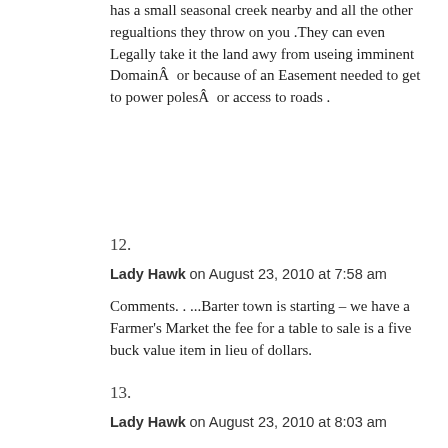has a small seasonal creek nearby and all the other regualtions they throw on you .They can even Legally take it the land awy from useing imminent DomainÂ  or because of an Easement needed to get to power polesÂ  or access to roads .
12.
Lady Hawk on August 23, 2010 at 7:58 am
Comments. . ...Barter town is starting – we have a Farmer's Market the fee for a table to sale is a five buck value item in lieu of dollars.
13.
Lady Hawk on August 23, 2010 at 8:03 am
Comments. . ...
NetRanger, completly agree with you.Â  I'd add this paradigm was manipulated and was not by accident,